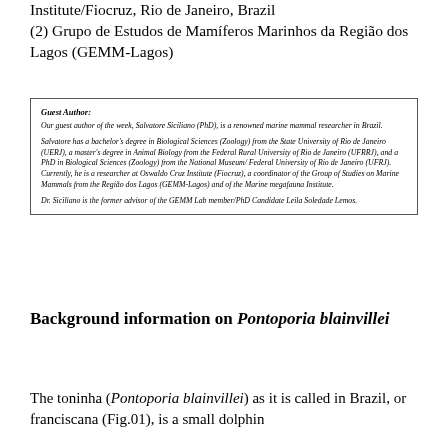Institute/Fiocruz, Rio de Janeiro, Brazil
(2) Grupo de Estudos de Mamíferos Marinhos da Região dos Lagos (GEMM-Lagos)
Guest Author:
Our guest author of the week, Salvatore Siciliano (PhD), is a renowned marine mammal researcher in Brazil.
Salvatore has a bachelor's degree in Biological Sciences (Zoology) from the State University of Rio de Janeiro (UERJ), a master's degree in Animal Biology from the Federal Rural University of Rio de Janeiro (UFRRJ), and a PhD in Biological Sciences (Zoology) from the National Museum/ Federal University of Rio de Janeiro (UFRJ). Currently, he is a researcher at Oswaldo Cruz Institute (Fiocruz), a coordinator of the Group of Studies on Marine Mammals from the Região dos Lagos (GEMM-Lagos) and of the Marine megafauna Institute.
Dr. Siciliano is the former advisor of the GEMM Lab member/PhD Candidate Leila Soledade Lemos.
Background information on Pontoporia blainvillei
The toninha (Pontoporia blainvillei) as it is called in Brazil, or franciscana (Fig.01), is a small dolphin